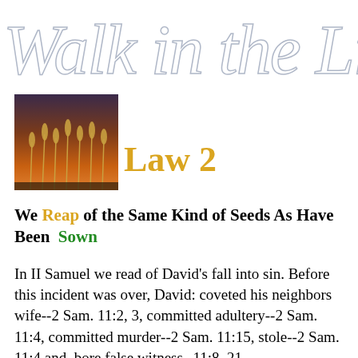Walk in the Light
[Figure (illustration): Photograph of wheat stalks against a warm sunset sky, orange and brown tones]
Law 2
We Reap of the Same Kind of Seeds As Have Been Sown
In II Samuel we read of David's fall into sin. Before this incident was over, David: coveted his neighbors wife--2 Sam. 11:2, 3, committed adultery--2 Sam. 11:4, committed murder--2 Sam. 11:15, stole--2 Sam. 11:4 and, bore false witness--11:8, 21.